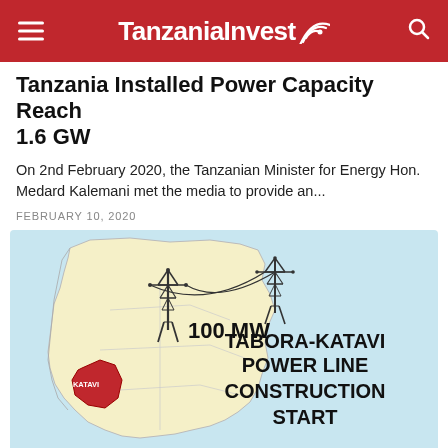TanzaniaInvest
Tanzania Installed Power Capacity Reach 1.6 GW
On 2nd February 2020, the Tanzanian Minister for Energy Hon. Medard Kalemani met the media to provide an...
FEBRUARY 10, 2020
[Figure (map): Infographic showing a map of Tanzania with the Katavi region highlighted in red, two electricity transmission towers connected by power lines, with text '100 MW' and 'TABORA-KATAVI POWER LINE CONSTRUCTION START' on a light blue background.]